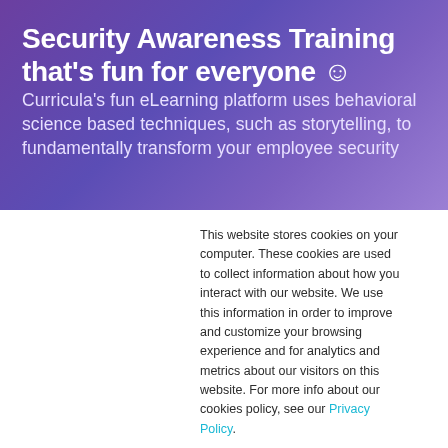Security Awareness Training that's fun for everyone ☺
Curricula's fun eLearning platform uses behavioral science based techniques, such as storytelling, to fundamentally transform your employee security
This website stores cookies on your computer. These cookies are used to collect information about how you interact with our website. We use this information in order to improve and customize your browsing experience and for analytics and metrics about our visitors on this website. For more info about our cookies policy, see our Privacy Policy.
If you decline, your information won't be tracked when you visit this website. A single cookie will be used in your browser to remember your preference not to be tracked.